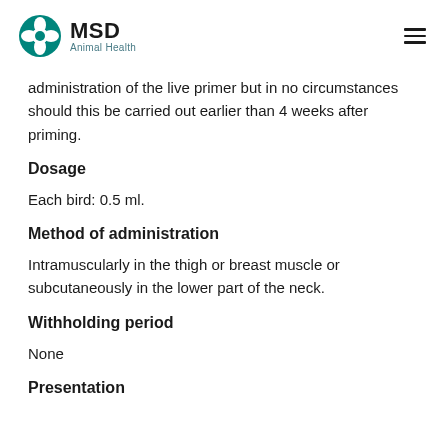MSD Animal Health
administration of the live primer but in no circumstances should this be carried out earlier than 4 weeks after priming.
Dosage
Each bird: 0.5 ml.
Method of administration
Intramuscularly in the thigh or breast muscle or subcutaneously in the lower part of the neck.
Withholding period
None
Presentation